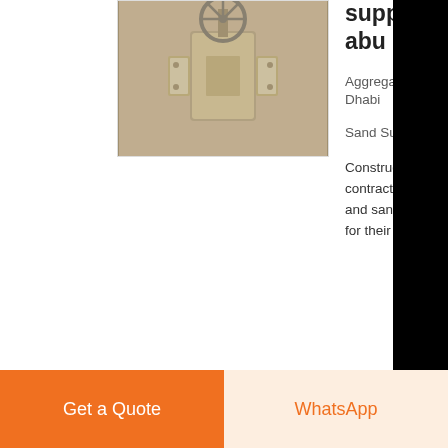[Figure (photo): Industrial gate valve / sluice gate, beige/khaki colored metal, with round handwheel on top]
suppliers abu dhabi
Aggregate Suppliers in Abu Dhabi
Sand Suppliers
Construction companies and contractors rely on aggregate and sand suppliers in Abu Dhabi for their building material needs
Get a Quote
WhatsApp